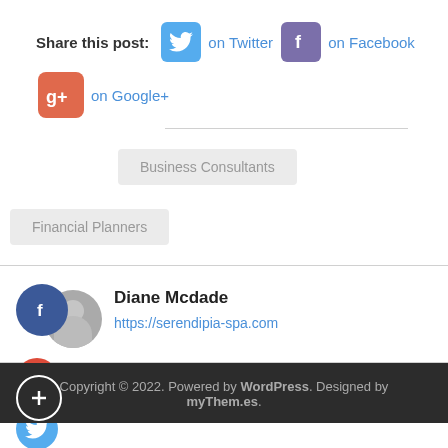Share this post: on Twitter  on Facebook  on Google+
Business Consultants
Financial Planners
Diane Mcdade
https://serendipia-spa.com
Copyright © 2022. Powered by WordPress. Designed by myThem.es.